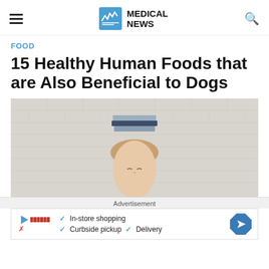MEDICAL NEWS
FOOD
15 Healthy Human Foods that are Also Beneficial to Dogs
[Figure (photo): Woman with books balanced on her head, light background]
Advertisement
[Figure (infographic): Advertisement banner: In-store shopping, Curbside pickup, Delivery]